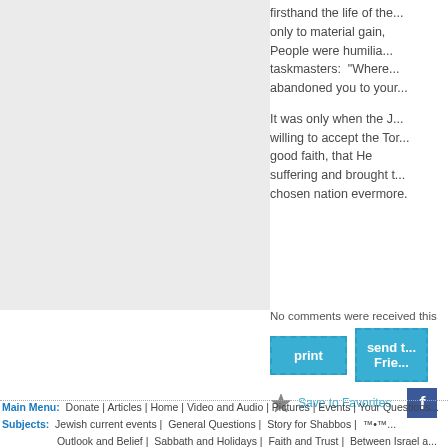firsthand the life of the... only to material gain, People were humiliated by taskmasters: "Where abandoned you to your...
It was only when the J... willing to accept the Tor... good faith, that He suffering and brought t... chosen nation evermore.
No comments were received this
print
send t... Frie...
Save to Favorites
Main Menu: Donate | Articles | Home | Video and Audio | Pictures | Events | Your Questions Subjects: Jewish current events | General Questions | Story for Shabbos | ... Outlook and Belief | Sabbath and Holidays | Faith and Trust | Between Israel a... Mitzvos | Developing Your Personality | Prayer | Science and Judaism | Mystic... Parasha | Torah Giants | Success Stories | Jewish Perspectives | Wit & Wisdo... Judaism | Holidays | Child Education | Tefillin | Family Relationships | Sabbat... More: RSS |